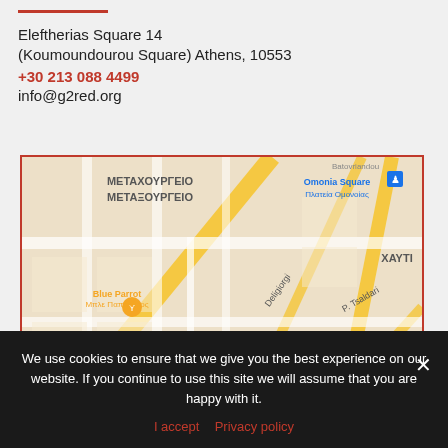Eleftherias Square 14
(Koumoundourou Square) Athens, 10553
+30 213 088 4499
info@g2red.org
[Figure (map): Google Maps screenshot showing the area around Metaxourgeio and Psyri neighborhoods in Athens, Greece. Landmarks visible include Omonia Square, Blue Parrot, Central Municipal Athens Market (Κεντρική Δημοτική Αγορά Αθηνών), Keramikos (ΚΕΡΑΜΕΙΚΟΣ), and Αρχαιολογικός Χώρος Κεραμεικού. Streets include Deligiorgi and P. Tsaldari.]
We use cookies to ensure that we give you the best experience on our website. If you continue to use this site we will assume that you are happy with it.
I accept  Privacy policy